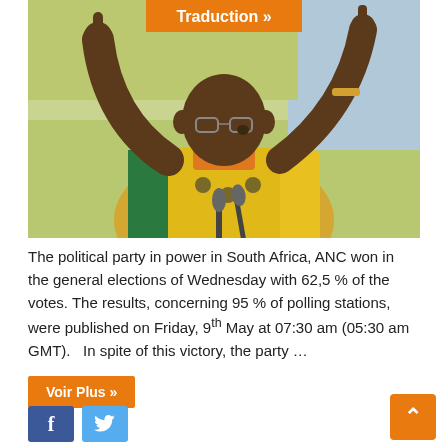[Figure (photo): A man in a yellow and green ANC shirt, arms raised with index fingers pointing upward, speaking at a podium with microphones. Orange 'Traduction »' button overlaid at the top center of the image.]
The political party in power in South Africa, ANC won in the general elections of Wednesday with 62,5 % of the votes. The results, concerning 95 % of polling stations, were published on Friday, 9th May at 07:30 am (05:30 am GMT).   In spite of this victory, the party …
Voir Plus »
f
🐦
∧